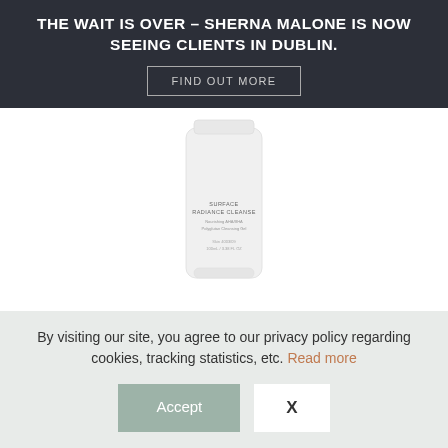THE WAIT IS OVER – SHERNA MALONE IS NOW SEEING CLIENTS IN DUBLIN.
FIND OUT MORE
[Figure (photo): White skincare product bottle labeled 'SURFACE RADIANCE CLEANSE, Nourishing AHA/BHA Polyglutan Cleansing Gel']
Dr Hauschka Shower Cream
By visiting our site, you agree to our privacy policy regarding cookies, tracking statistics, etc. Read more
Accept
X